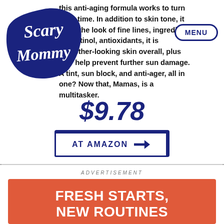[Figure (logo): Scary Mommy logo — white cursive text on dark blue cloud/blob shape]
this anti-aging formula works to turn back time. In addition to skin tone, it blurs the look of fine lines, ingredients like retinol, antioxidants, it is smoother-looking skin overall, plus SPF help prevent further sun damage. A tint, sun block, and anti-ager, all in one? Now that, Mamas, is a multitasker.
$9.78
AT AMAZON →
ADVERTISEMENT
[Figure (infographic): Orange/coral advertisement banner with text 'FRESH STARTS, NEW ROUTINES', a white pill-shaped 'SHOP NOW' button, and hands holding products at the bottom]